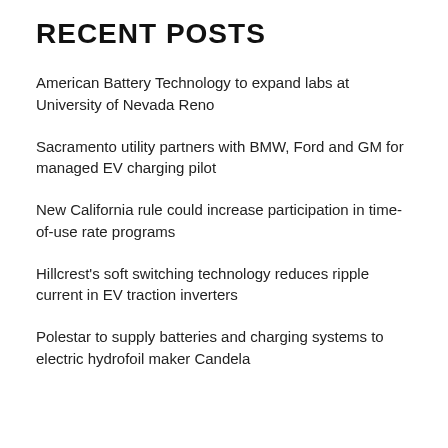RECENT POSTS
American Battery Technology to expand labs at University of Nevada Reno
Sacramento utility partners with BMW, Ford and GM for managed EV charging pilot
New California rule could increase participation in time-of-use rate programs
Hillcrest's soft switching technology reduces ripple current in EV traction inverters
Polestar to supply batteries and charging systems to electric hydrofoil maker Candela